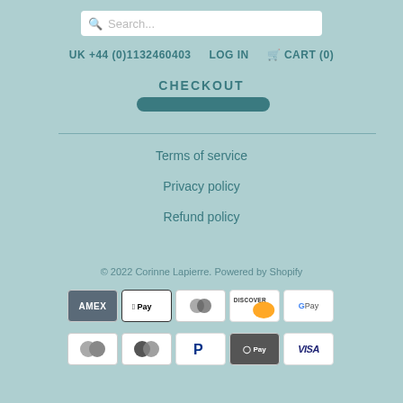[Figure (screenshot): Search bar with magnifying glass icon and placeholder text 'Search...']
UK +44 (0)1132460403   LOG IN   🛒 CART (0)
CHECKOUT
[Figure (other): Teal checkout button]
Terms of service
Privacy policy
Refund policy
© 2022 Corinne Lapierre. Powered by Shopify
[Figure (other): Payment method icons: AMEX, Apple Pay, Diners Club, Discover, Google Pay, Mastercard (x2), PayPal, Shop Pay, Visa]